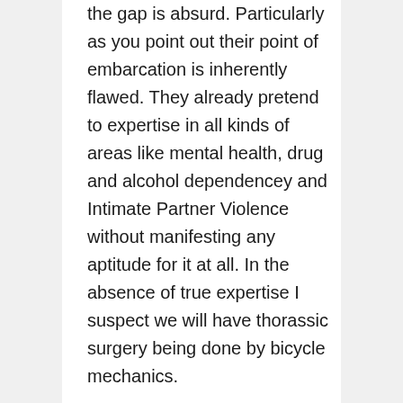the gap is absurd. Particularly as you point out their point of embarcation is inherently flawed. They already pretend to expertise in all kinds of areas like mental health, drug and alcohol dependencey and Intimate Partner Violence without manifesting any aptitude for it at all. In the absence of true expertise I suspect we will have thorassic surgery being done by bicycle mechanics.

Part of the mythology they are already hinting at is the provision of courses and pseudo education. It is a popular fallacy embraced by governments and their agencies that